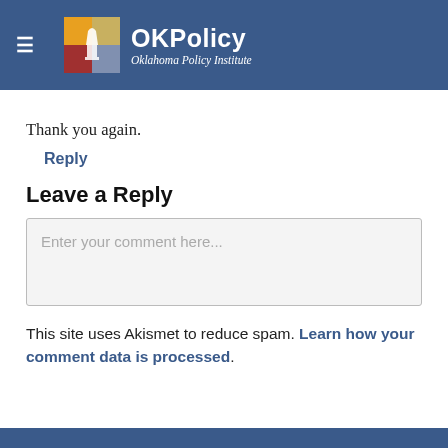OKPolicy — Oklahoma Policy Institute
Thank you again.
Reply
Leave a Reply
Enter your comment here...
This site uses Akismet to reduce spam. Learn how your comment data is processed.